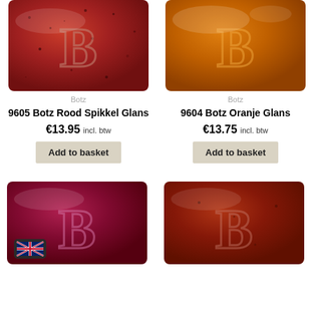[Figure (photo): Botz ceramic glaze tile sample with red speckle gloss finish and embossed B logo]
Botz
9605 Botz Rood Spikkel Glans
€13.95 incl. btw
Add to basket
[Figure (photo): Botz ceramic glaze tile sample with orange gloss finish and embossed B logo]
Botz
9604 Botz Oranje Glans
€13.75 incl. btw
Add to basket
[Figure (photo): Botz ceramic glaze tile sample with dark red gloss finish and embossed B logo, with UK flag badge]
[Figure (photo): Botz ceramic glaze tile sample with rust/dark red gloss finish and embossed B logo]